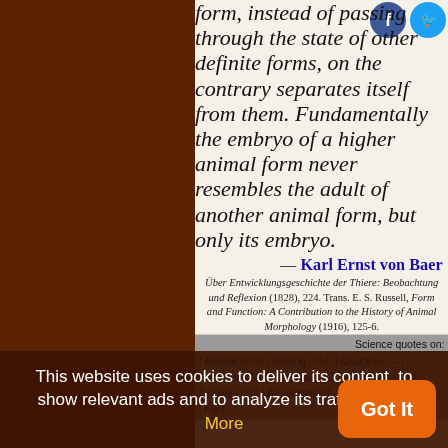form, instead of passing through the state of other definite forms, on the contrary separates itself from them. Fundamentally the embryo of a higher animal form never resembles the adult of another animal form, but only its embryo.
— Karl Ernst von Baer
Über Entwicklungsgeschichte der Thiere: Beobachtung und Reflexion (1828), 224. Trans. E. S. Russell, Form and Function: A Contribution to the History of Animal Morphology (1916), 125-6.
Science quotes on: | Animal (634) | Belong (164) | Character — | Common (440) | Contrary (142) | Definite (112) | Degree (276) | Development (431) | Embryo (29) | Fact
This website uses cookies to deliver its content, to show relevant ads and to analyze its traffic. Learn More